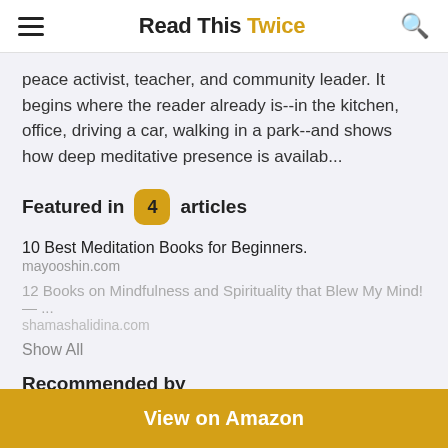Read This Twice
peace activist, teacher, and community leader. It begins where the reader already is--in the kitchen, office, driving a car, walking in a park--and shows how deep meditative presence is availab...
Featured in 4 articles
10 Best Meditation Books for Beginners. mayooshin.com
12 Books on Mindfulness and Spirituality that Blew My Mind! — ... shamashalidina.com
Show All
Recommended by
Taylor Otwell and Akshay M
View on Amazon